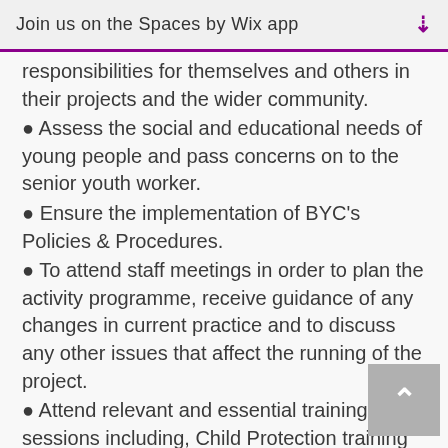Join us on the Spaces by Wix app ⬇
responsibilities for themselves and others in their projects and the wider community.
• Assess the social and educational needs of young people and pass concerns on to the senior youth worker.
• Ensure the implementation of BYC's Policies & Procedures.
• To attend staff meetings in order to plan the activity programme, receive guidance of any changes in current practice and to discuss any other issues that affect the running of the project.
• Attend relevant and essential training sessions including, Child Protection training and First Aid.